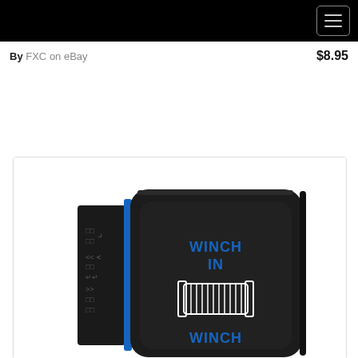Navigation menu header bar
By FXC on eBay   $8.95
[Figure (photo): Product photo of a black rocker switch with blue LED illumination and text 'WINCH IN' and 'WINCH' with a winch/spool icon on the face. The switch is angled to show its profile with blue accent lighting on the side.]